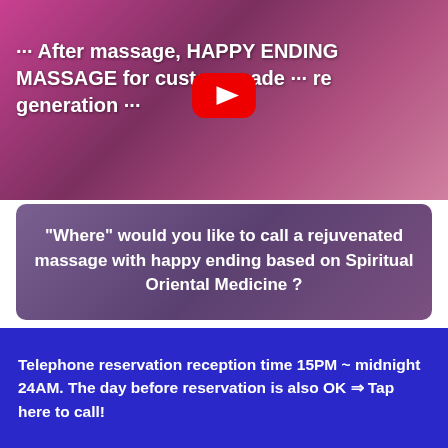[Figure (screenshot): Video thumbnail with pinkish-purple background showing massage scene. Text overlay reads '··· After massage, HAPPY ENDING MASSAGE for custom-made ··· re generation ···' with a YouTube play button in the center.]
"Where" would you like to call a rejuvenated massage with happy ending based on Spiritual Oriental Medicine ?
Telephone reservation reception time 15PM ~ midnight 24AM. The day before reservation is also OK ⇒ Tap here to call!